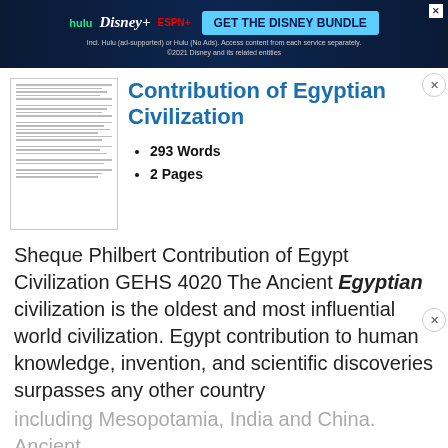[Figure (other): Disney Bundle advertisement banner at top with Hulu, Disney+, ESPN+ logos and 'GET THE DISNEY BUNDLE' call to action button]
[Figure (other): Thumbnail preview of the essay document pages]
Contribution of Egyptian Civilization
293 Words
2 Pages
Sheque Philbert Contribution of Egypt Civilization GEHS 4020 The Ancient Egyptian civilization is the oldest and most influential world civilization. Egypt contribution to human knowledge, invention, and scientific discoveries surpasses any other country including Mesopotamia, India and China. Ancient Egyptians invented art, sculpture, hieroglyph writing, paper, Geometry and the alphabet. They were
[Figure (other): Disney Bundle advertisement banner overlaid on text, same as top banner]